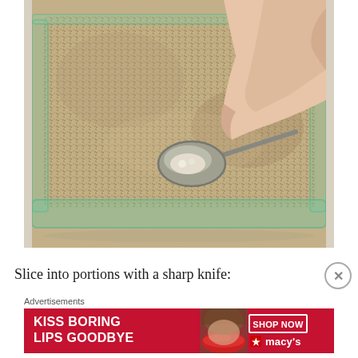[Figure (photo): A hand holding a small measuring spoon pressing into a glass baking dish filled with granular breadcrumbs or crushed nuts, viewed from above]
Slice into portions with a sharp knife:
[Figure (photo): Advertisement banner: KISS BORING LIPS GOODBYE with a woman's red lips, SHOP NOW button, and macys logo on red background]